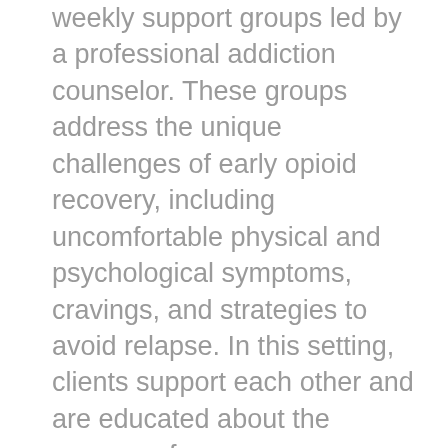weekly support groups led by a professional addiction counselor. These groups address the unique challenges of early opioid recovery, including uncomfortable physical and psychological symptoms, cravings, and strategies to avoid relapse. In this setting, clients support each other and are educated about the process of recovery.
Medication-assisted therapy may help stabilize the patient for these challenges in early recovery. “It gives people an opportunity to step out of the chaos of addiction and consider other ways of being,” says Dr. Reveley. “I never felt that buprenorphine was meant as a lifelong or even long-term solution.” Although there may be exceptions. It all depends on the individual needs of the patient. Reveley remembers a patient who had been on